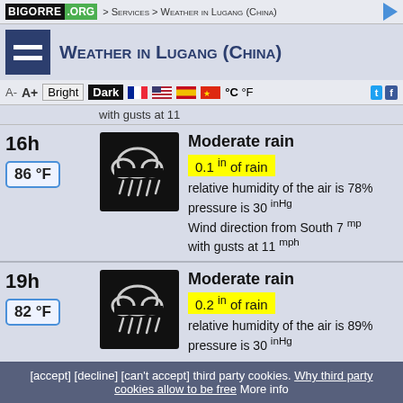BIGORRE .ORG > Services > Weather in Lugang (China)
Weather in Lugang (China)
A- A+ Bright Dark °C °F
with gusts at 11
16h | 86 °F | Moderate rain | 0.1 in of rain | relative humidity of the air is 78% | pressure is 30 inHg | Wind direction from South 7 mph with gusts at 11 mph
19h | 82 °F | Moderate rain | 0.2 in of rain | relative humidity of the air is 89% | pressure is 30 inHg
[accept] [decline] [can't accept] third party cookies. Why third party cookies allow to be free More info